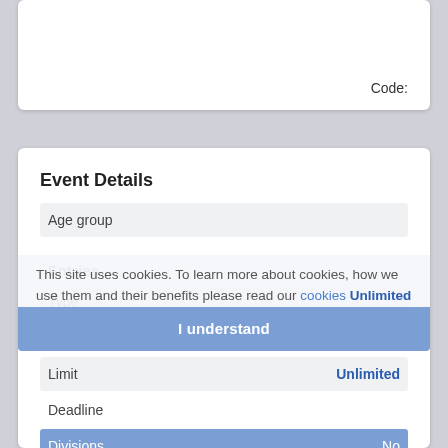Code:
Event Details
| Age group |  |
| Entries |  |
| Type |  |
| Status |  |
| Limit | Unlimited |
| Deadline |  |
| Divisions | No |
| Open to foreign Skiers | No |
| Cash Prize | No |
This site uses cookies. To learn more about cookies, how we use them and their benefits please read our cookies Unlimited
I understand